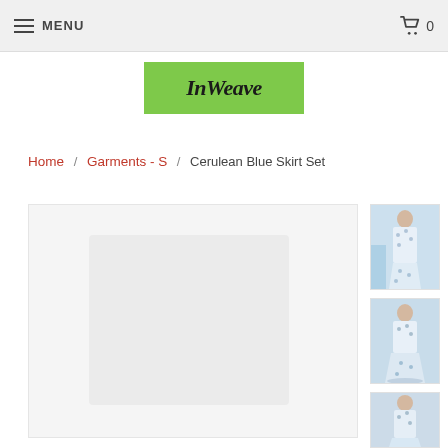MENU | 0
[Figure (logo): InWeave logo — green background with italic serif text 'InWeave']
Home / Garments - S / Cerulean Blue Skirt Set
[Figure (photo): Large main product image area — Cerulean Blue Skirt Set (placeholder/loading)]
[Figure (photo): Thumbnail 1: model wearing cerulean blue floral skirt set, full body front view]
[Figure (photo): Thumbnail 2: model wearing cerulean blue floral skirt set, side/back view]
[Figure (photo): Thumbnail 3: model wearing cerulean blue floral skirt set, partial view]